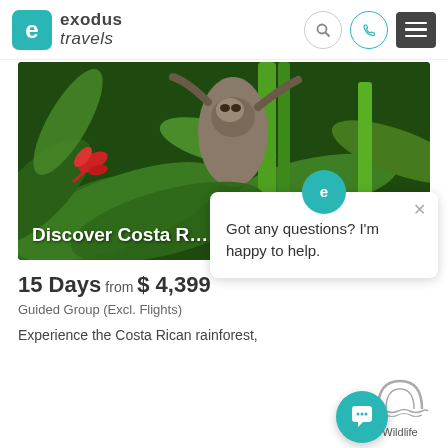[Figure (logo): Exodus Travels logo with teal rounded square icon containing letter e, and text 'exodus travels' in grey]
[Figure (photo): A sloth clinging to tropical vegetation in a Costa Rican rainforest. Dense green foliage with a red tropical flower visible on the left.]
Discover Costa R...
[Figure (screenshot): Chat popup overlay with Exodus Travels logo avatar, close X button, and text: Got any questions? I'm happy to help.]
15 Days from $ 4,399
Guided Group (Excl. Flights)
Experience the Costa Rican rainforest,
[Figure (illustration): Wildlife category icon showing an arch/rainbow with water waves, labeled Wildlife]